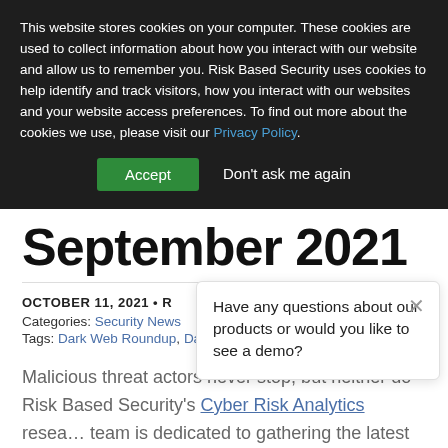This website stores cookies on your computer. These cookies are used to collect information about how you interact with our website and allow us to remember you. Risk Based Security uses cookies to help identify and track visitors, how you interact with our websites and your website access preferences. To find out more about the cookies we use, please visit our Privacy Policy.
Accept | Don't ask me again
September 2021
OCTOBER 11, 2021 • R
Categories: Security News
Tags: Dark Web Roundup, Dat…
Have any questions about our products or would you like to see a demo?
Malicious threat actors never stop, but neither do Risk Based Security's Cyber Risk Analytics resea… team is dedicated to gathering the latest in data